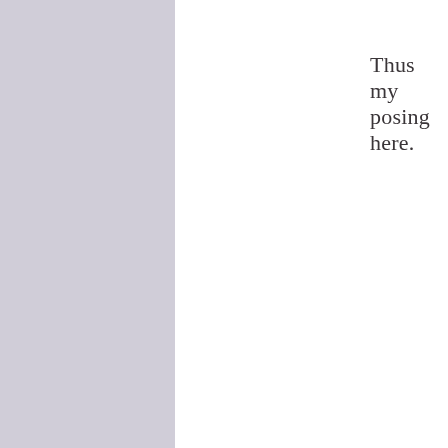Thus my posing here.
[Figure (photo): Street scene photograph showing a sidewalk with trees, a lamppost, parked cars, a storefront with a sign reading 'SALON', and a person with raised hands visible at the bottom right, partially cropped at the right edge.]